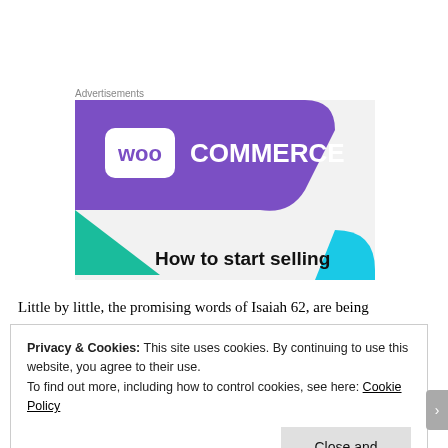Advertisements
[Figure (illustration): WooCommerce advertisement banner showing the WooCommerce logo on a purple background with teal and blue accent shapes, and text 'How to start selling' partially visible at the bottom.]
Little by little, the promising words of Isaiah 62, are being
Privacy & Cookies: This site uses cookies. By continuing to use this website, you agree to their use.
To find out more, including how to control cookies, see here: Cookie Policy
Close and accept